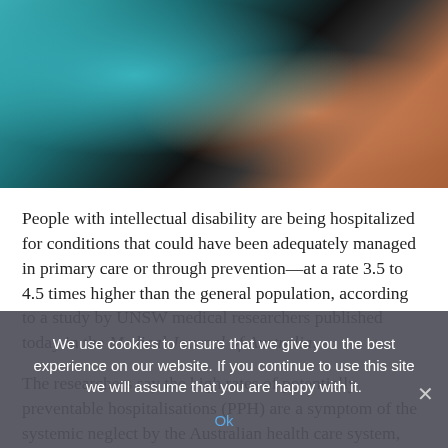[Figure (photo): Close-up photo of a person wearing a teal/blue top, with a dark background and warm skin tones visible — appears to be a medical or healthcare-related context.]
People with intellectual disability are being hospitalized for conditions that could have been adequately managed in primary care or through prevention—at a rate 3.5 to 4.5 times higher than the general population, according to a study by UNSW medical researchers published today in the Medical Journal of Australia.
The researchers say the high rates of potentially preventable hospitalisations (PPH) are a symptom of the systemic neglect by the Australian health care system, recently reported by
We use cookies to ensure that we give you the best experience on our website. If you continue to use this site we will assume that you are happy with it.
Ok